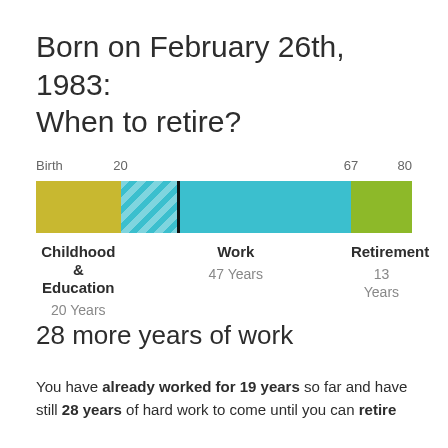Born on February 26th, 1983: When to retire?
[Figure (stacked-bar-chart): Life stages timeline]
28 more years of work
You have already worked for 19 years so far and have still 28 years of hard work to come until you can retire